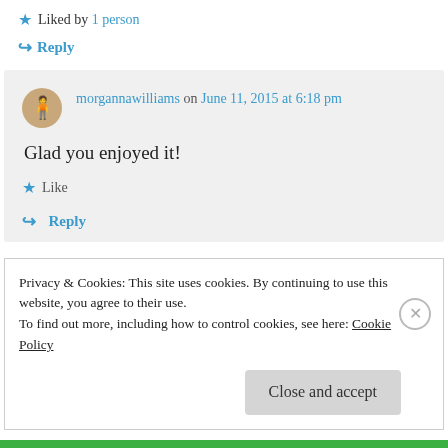★ Liked by 1 person
↪ Reply
morgannawilliams on June 11, 2015 at 6:18 pm
Glad you enjoyed it!
★ Like
↪ Reply
Privacy & Cookies: This site uses cookies. By continuing to use this website, you agree to their use.
To find out more, including how to control cookies, see here: Cookie Policy
Close and accept